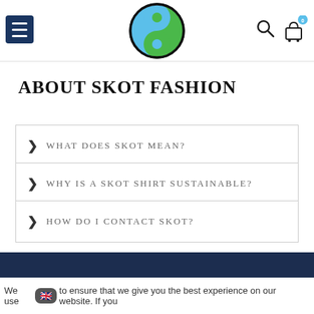Skot Fashion website header with menu, logo, search and cart
ABOUT SKOT FASHION
> WHAT DOES SKOT MEAN?
> WHY IS A SKOT SHIRT SUSTAINABLE?
> HOW DO I CONTACT SKOT?
We use [flag] to ensure that we give you the best experience on our website. If you